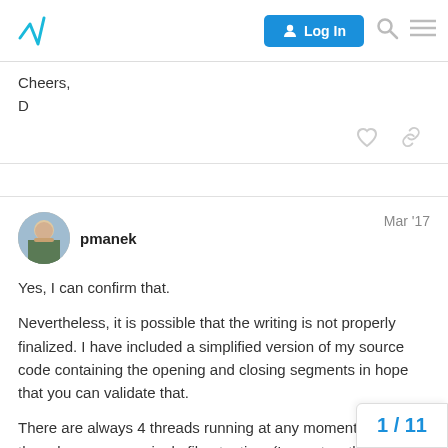Log In
Cheers,
D
pmanek  Mar '17
Yes, I can confirm that.
Nevertheless, it is possible that the writing is not properly finalized. I have included a simplified version of my source code containing the opening and closing segments in hope that you can validate that.
There are always 4 threads running at any moment. Each thread accesses a single file at a time (I ca... two threads are working with the same file...
1 / 11